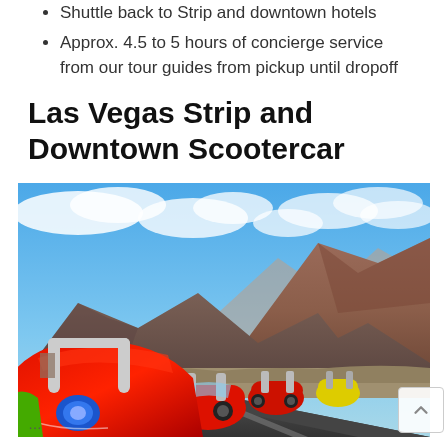Shuttle back to Strip and downtown hotels
Approx. 4.5 to 5 hours of concierge service from our tour guides from pickup until dropoff
Las Vegas Strip and Downtown Scootercar
[Figure (photo): A line of colorful scooter cars (primarily red, with yellow visible) parked on a road with dramatic red rock mountains in the background under a partly cloudy blue sky.]
...